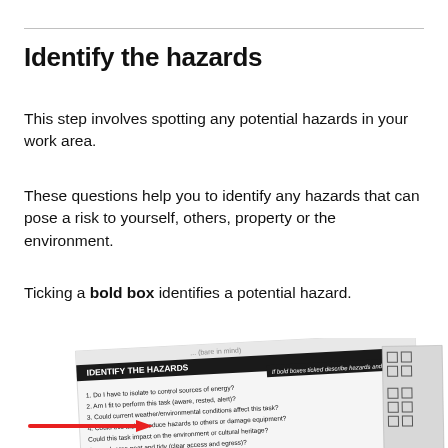Identify the hazards
This step involves spotting any potential hazards in your work area.
These questions help you to identify any hazards that can pose a risk to yourself, others, property or the environment.
Ticking a bold box identifies a potential hazard.
[Figure (photo): A photograph of a hazard identification checklist form showing 'IDENTIFY THE HAZARDS' section with numbered questions about isolating energy sources, fitness for task, weather conditions, damage to equipment, environmental impact, and access/egress. A red arrow points to one of the questions. Checkboxes are visible on the right side of the form.]